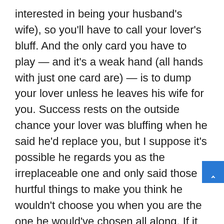interested in being your husband's wife), so you'll have to call your lover's bluff. And the only card you have to play — and it's a weak hand (all hands with just one card are) — is to dump your lover unless he leaves his wife for you. Success rests on the outside chance your lover was bluffing when he said he'd replace you, but I suppose it's possible he regards you as the irreplaceable one and only said those hurtful things to make you think he wouldn't choose you when you are the one he would've chosen all along. If it turns out that this was the case, SMACK, you'll wind up with your soul mate… who happens to be kindasorta cruel and manipulative.
Calling your lover's bluff — ending a relationship that, in its current form, brings you no joy — is your only hope of having this guy to yourself. But the likelier outcome is that you'll be left alone (with, um, your